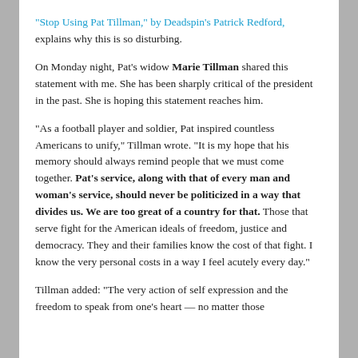“Stop Using Pat Tillman,” by Deadspin’s Patrick Redford, explains why this is so disturbing.
On Monday night, Pat’s widow Marie Tillman shared this statement with me. She has been sharply critical of the president in the past. She is hoping this statement reaches him.
“As a football player and soldier, Pat inspired countless Americans to unify,” Tillman wrote. “It is my hope that his memory should always remind people that we must come together. Pat’s service, along with that of every man and woman’s service, should never be politicized in a way that divides us. We are too great of a country for that. Those that serve fight for the American ideals of freedom, justice and democracy. They and their families know the cost of that fight. I know the very personal costs in a way I feel acutely every day.”
Tillman added: “The very action of self expression and the freedom to speak from one’s heart — no matter those